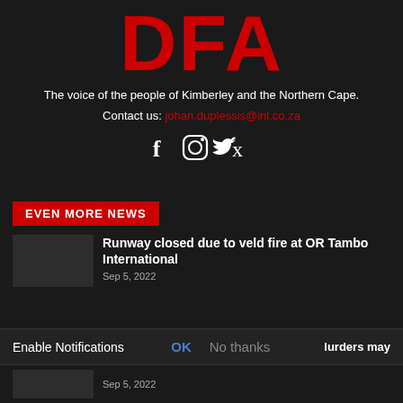[Figure (logo): DFA logo in large bold red text on dark background]
The voice of the people of Kimberley and the Northern Cape.
Contact us: johan.duplessis@inl.co.za
[Figure (illustration): Social media icons: Facebook, Instagram, Twitter]
EVEN MORE NEWS
Runway closed due to veld fire at OR Tambo International
Sep 5, 2022
Enable Notifications
OK
No thanks
lurders may
Sep 5, 2022